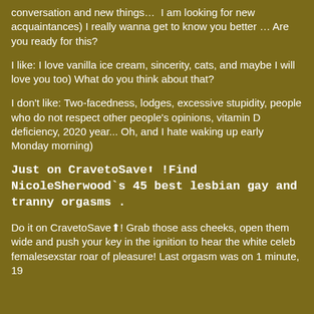conversation and new things…  I am looking for new acquaintances) I really wanna get to know you better … Are you ready for this?
I like: I love vanilla ice cream, sincerity, cats, and maybe I will love you too) What do you think about that?
I don't like: Two-facedness, lodges, excessive stupidity, people who do not respect other people's opinions, vitamin D deficiency, 2020 year... Oh, and I hate waking up early Monday morning)
Just on CravetoSave⬆ !Find NicoleSherwood`s 45 best lesbian gay and tranny orgasms .
Do it on CravetoSave⬆! Grab those ass cheeks, open them wide and push your key in the ignition to hear the white celeb femalesexstar roar of pleasure! Last orgasm was on 1 minute, 19